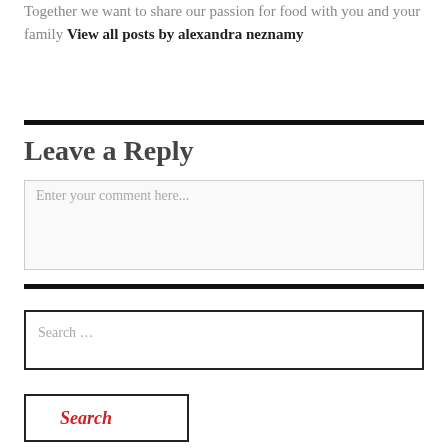Together we want to share our passion for food with you and your family View all posts by alexandra neznamy
Leave a Reply
Enter your comment here...
Search …